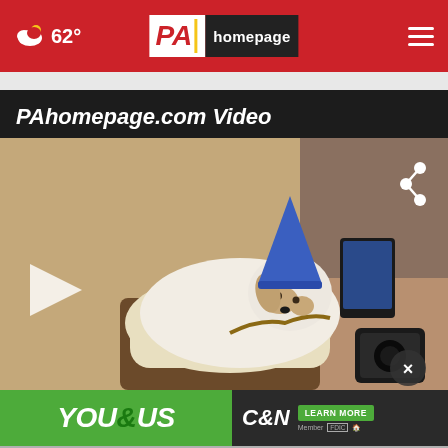62° PA homepage
PAhomepage.com Video
[Figure (photo): A small white dog wearing a blue party hat lying on a cushioned chair, with a play button overlay on the left and a share icon on the upper right. A close (×) button appears at the bottom right.]
[Figure (infographic): Advertisement banner for Citizens & Northern Bank: green left half reads YOU&US in large italic text, dark right half shows C&N logo with LEARN MORE button and FDIC logo.]